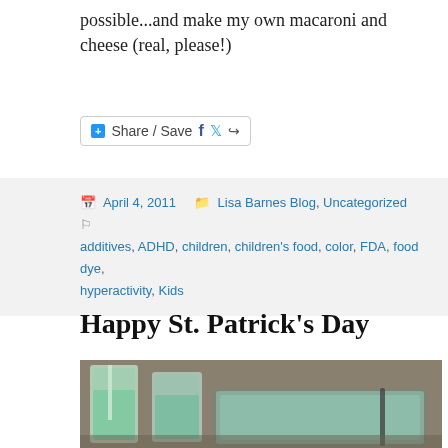possible...and make my own macaroni and cheese (real, please!)
[Figure (screenshot): Share / Save button bar with Facebook, Twitter and share icons]
April 4, 2011   Lisa Barnes Blog, Uncategorized   additives, ADHD, children, children's food, color, FDA, food dye, hyperactivity, Kids
Happy St. Patrick's Day
[Figure (photo): Photo of two glasses of green-tinted milk and a glass baking dish with green liquid on a countertop]